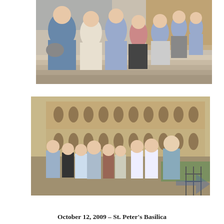[Figure (photo): Group of approximately 8 people posing on wide stone steps of an ancient Roman structure. Most are wearing blue or light-colored shirts. A woman in the foreground holds a gray bag.]
[Figure (photo): Group of approximately 10 people posing in front of the Theatre of Marcellus (ancient Roman amphitheater with arched facades) in Rome. A blue arrow watermark appears in the lower right corner.]
October 12, 2009 – St. Peter's Basilica